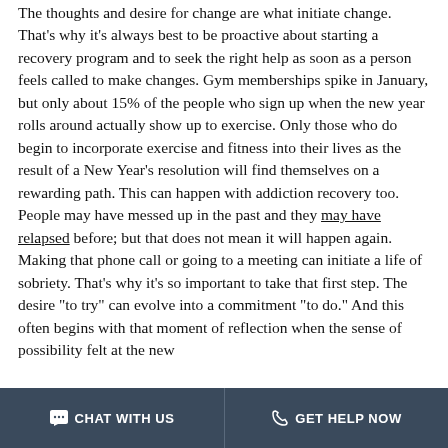The thoughts and desire for change are what initiate change. That's why it's always best to be proactive about starting a recovery program and to seek the right help as soon as a person feels called to make changes. Gym memberships spike in January, but only about 15% of the people who sign up when the new year rolls around actually show up to exercise. Only those who do begin to incorporate exercise and fitness into their lives as the result of a New Year's resolution will find themselves on a rewarding path. This can happen with addiction recovery too. People may have messed up in the past and they may have relapsed before; but that does not mean it will happen again. Making that phone call or going to a meeting can initiate a life of sobriety. That's why it's so important to take that first step. The desire "to try" can evolve into a commitment "to do." And this often begins with that moment of reflection when the sense of possibility felt at the new
CHAT WITH US   GET HELP NOW